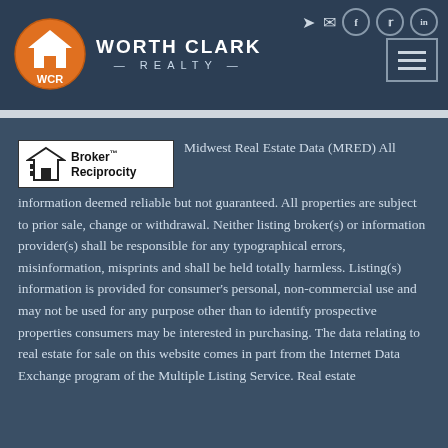[Figure (logo): Worth Clark Realty logo with WCR orange circle badge and text]
[Figure (logo): Broker Reciprocity logo - house icon with Broker Reciprocity text]
Midwest Real Estate Data (MRED) All information deemed reliable but not guaranteed. All properties are subject to prior sale, change or withdrawal. Neither listing broker(s) or information provider(s) shall be responsible for any typographical errors, misinformation, misprints and shall be held totally harmless. Listing(s) information is provided for consumer's personal, non-commercial use and may not be used for any purpose other than to identify prospective properties consumers may be interested in purchasing. The data relating to real estate for sale on this website comes in part from the Internet Data Exchange program of the Multiple Listing Service. Real estate listings held by brokerage firms other than Worth Clark Realty